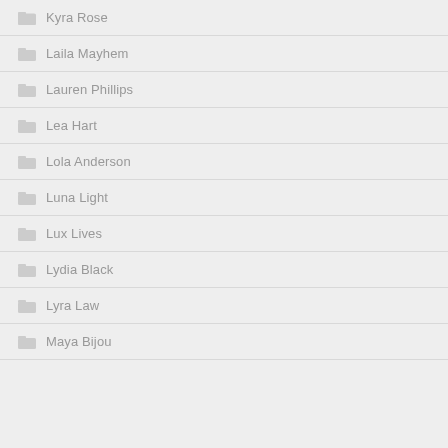Kyra Rose
Laila Mayhem
Lauren Phillips
Lea Hart
Lola Anderson
Luna Light
Lux Lives
Lydia Black
Lyra Law
Maya Bijou